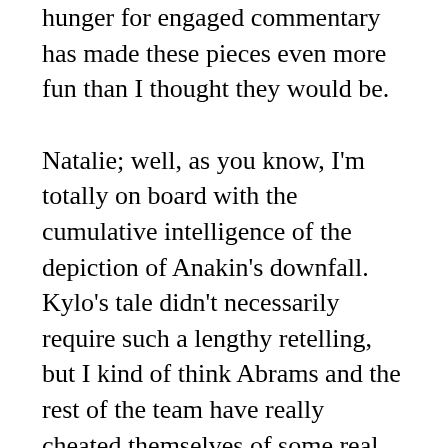hunger for engaged commentary has made these pieces even more fun than I thought they would be.
Natalie; well, as you know, I'm totally on board with the cumulative intelligence of the depiction of Anakin's downfall. Kylo's tale didn't necessarily require such a lengthy retelling, but I kind of think Abrams and the rest of the team have really cheated themselves of some real dramatic meat in exchange for an enjoyable action film. Han's death would've been far more deeply shocking and effective, for one thing, if we'd seen something like their normal relationship, and more ambiguity about how that scene would turn out therefore had been